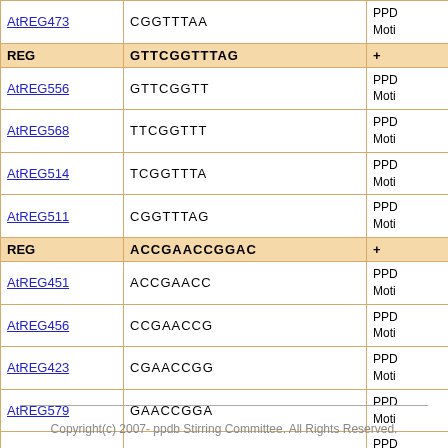| ID | Sequence | PPD/Motif |
| --- | --- | --- |
| AtREG473 | CGGTTTAA | PPD Moti |
| REG | GTTCGGTTTAG | + |
| AtREG556 | GTTCGGTT | PPD Moti |
| AtREG568 | TTCGGTTT | PPD Moti |
| AtREG514 | TCGGTTTA | PPD Moti |
| AtREG511 | CGGTTTAG | PPD Moti |
| REG | ACCGAACCGGAC | + |
| AtREG451 | ACCGAACC | PPD Moti |
| AtREG456 | CCGAACCG | PPD Moti |
| AtREG423 | CGAACCGG | PPD Moti |
| AtREG579 | GAACCGGA | PPD Moti |
| AtREG573 | AACCGGAC | PPD Moti |
Copyright(c) 2007- ppdb Stirring Committee. All Rights Reserved.